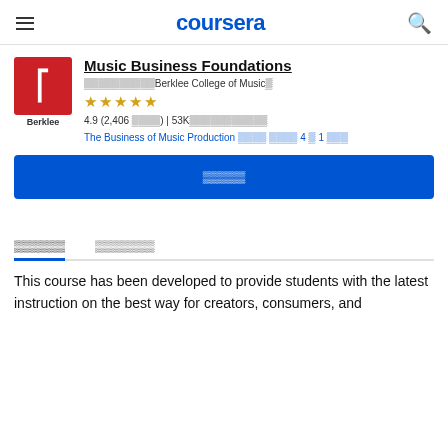coursera
Music Business Foundations
🔲🔲🔲🔲🔲🔲🔲🔲🔲🔲Berklee College of Music🔲
★★★★★
4.9 (2,406 🔲🔲🔲🔲) | 53K🔲🔲🔲🔲🔲🔲🔲🔲🔲🔲🔲
The Business of Music Production 🔲🔲🔲🔲 🔲🔲🔲🔲 4 🔲 1 🔲🔲🔲
🔲🔲🔲🔲🔲
🔲🔲🔲🔲🔲🔲
🔲🔲🔲🔲🔲🔲🔲
This course has been developed to provide students with the latest instruction on the best way for creators, consumers, and